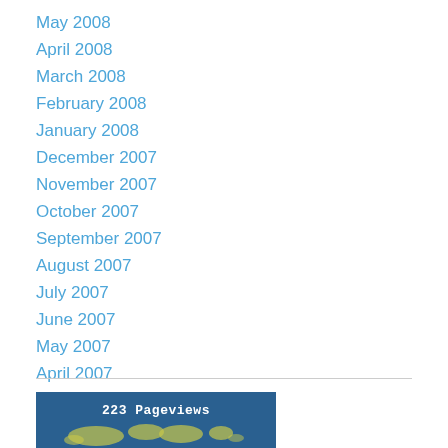May 2008
April 2008
March 2008
February 2008
January 2008
December 2007
November 2007
October 2007
September 2007
August 2007
July 2007
June 2007
May 2007
April 2007
March 2007
[Figure (infographic): Stats counter widget showing '223 Pageviews Jul 23rd - Aug 23rd' with a world map background on blue background]